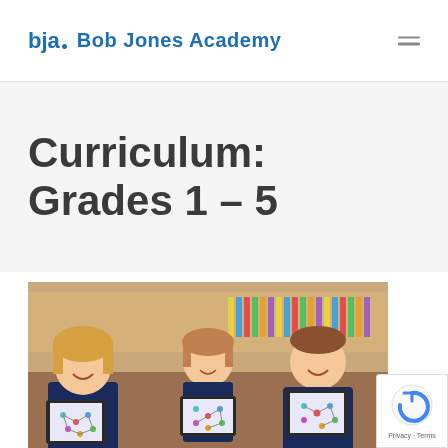Bob Jones Academy
Curriculum: Grades 1 – 5
[Figure (photo): Three young elementary school children sitting in a classroom, each holding up a tablet displaying a colorful educational app with a circle/node diagram. Classroom shelves and educational materials visible in the background.]